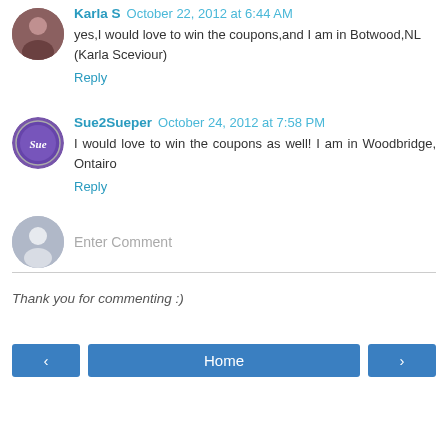Karla S  October 22, 2012 at 6:44 AM
yes,I would love to win the coupons,and I am in Botwood,NL
(Karla Sceviour)
Reply
Sue2Sueper  October 24, 2012 at 7:58 PM
I would love to win the coupons as well! I am in Woodbridge, Ontairo
Reply
Enter Comment
Thank you for commenting :)
< | Home | >